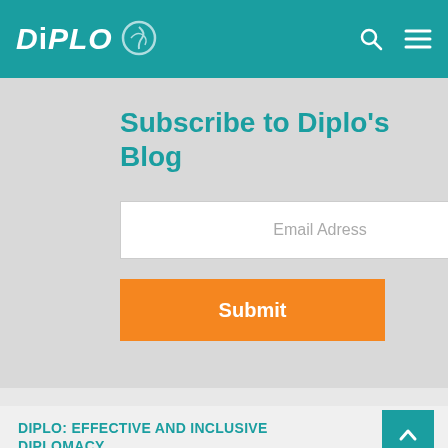DiPLO
Subscribe to Diplo's Blog
Email Adress
Submit
DIPLO: EFFECTIVE AND INCLUSIVE DIPLOMACY